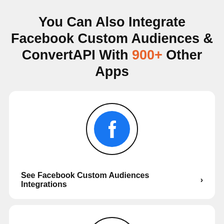You Can Also Integrate Facebook Custom Audiences & ConvertAPI With 900+ Other Apps
[Figure (logo): Facebook logo (blue circle with white f) inside a hand-drawn-style circle border, with text link 'See Facebook Custom Audiences Integrations >' below]
[Figure (logo): ConvertAPI or similar app logo inside a hand-drawn-style circle border, partially visible at bottom of page]